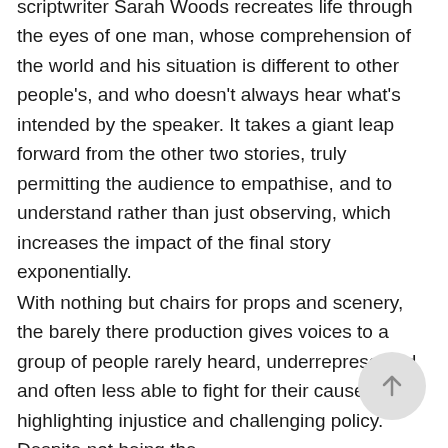scriptwriter Sarah Woods recreates life through the eyes of one man, whose comprehension of the world and his situation is different to other people's, and who doesn't always hear what's intended by the speaker. It takes a giant leap forward from the other two stories, truly permitting the audience to empathise, and to understand rather than just observing, which increases the impact of the final story exponentially.
With nothing but chairs for props and scenery, the barely there production gives voices to a group of people rarely heard, underrepresented and often less able to fight for their cause, highlighting injustice and challenging policy. Despite not being the